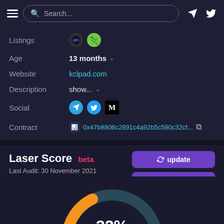Navigation bar with hamburger menu, search box, telegram and twitter icons
Listings: CoinMarketCap, CoinGecko icons
Age: 13 months
Website: kclpad.com
Description: show...
Social: Telegram, Twitter, Medium
Contract: 0x47b8806c2891c4a92b5c590c32cf...
Laser Score beta
Last Audit: 30 November 2021
[Figure (other): Gauge chart showing 32% High risk score. Orange arc from bottom-left to about 1/3 of the way, dark teal arc for the rest. Center shows 32% in white, High risk in orange below.]